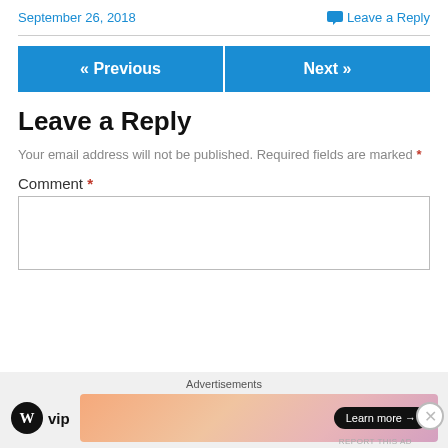September 26, 2018
Leave a Reply
« Previous
Next »
Leave a Reply
Your email address will not be published. Required fields are marked *
Comment *
[Figure (other): Comment text area input box]
Advertisements
[Figure (logo): WordPress VIP logo with WP circle icon]
[Figure (other): Advertisement banner with gradient background and Learn more button]